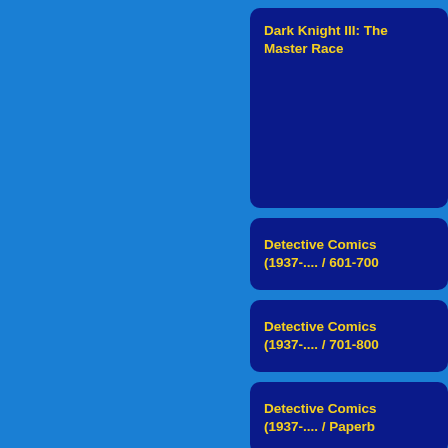Dark Knight III: The Master Race
Detective Comics (1937-.... / 601-700
Detective Comics (1937-.... / 701-800
Detective Comics (1937-.... / Paperb
Detective Comics (2011-2016)  Eng